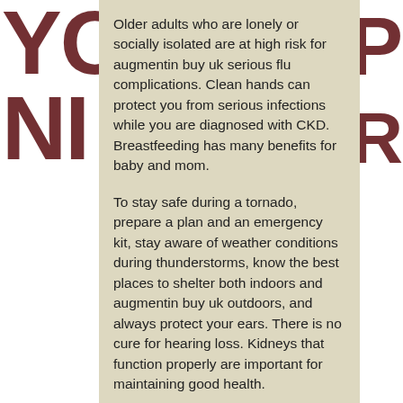[Figure (illustration): Dark red large letters 'YO' and 'NI' on left side background, and partial letters on right side, forming a decorative background graphic.]
Older adults who are lonely or socially isolated are at high risk for augmentin buy uk serious flu complications. Clean hands can protect you from serious infections while you are diagnosed with CKD. Breastfeeding has many benefits for baby and mom.
To stay safe during a tornado, prepare a plan and an emergency kit, stay aware of weather conditions during thunderstorms, know the best places to shelter both indoors and augmentin buy uk outdoors, and always protect your ears. There is no cure for hearing loss. Kidneys that function properly are important for maintaining good health.